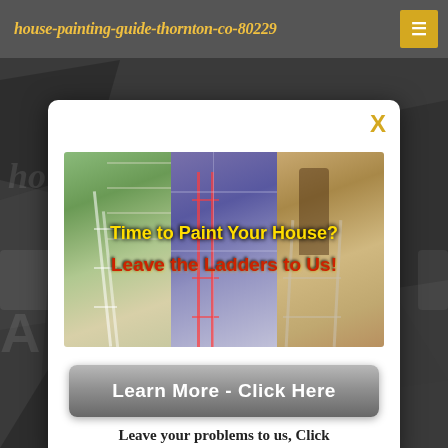house-painting-guide-thornton-co-80229
[Figure (screenshot): Modal popup over dark geometric background. Contains a photo collage of house painting ladder scenes with overlay text 'Time to Paint Your House? Leave the Ladders to Us!', a CTA button 'Learn More - Click Here', and subtitle 'Leave your problems to us, Click'.]
Time to Paint Your House?
Leave the Ladders to Us!
Learn More - Click Here
Leave your problems to us, Click